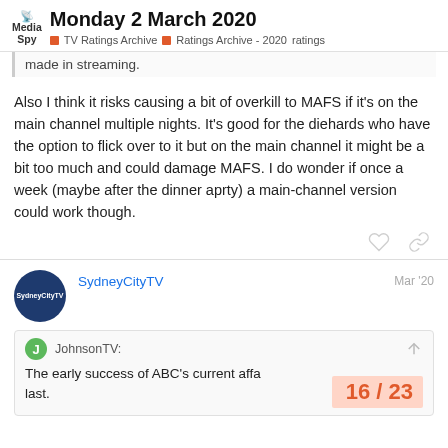Monday 2 March 2020 | MediaSpy | TV Ratings Archive > Ratings Archive - 2020 > ratings
made in streaming.
Also I think it risks causing a bit of overkill to MAFS if it's on the main channel multiple nights. It's good for the diehards who have the option to flick over to it but on the main channel it might be a bit too much and could damage MAFS. I do wonder if once a week (maybe after the dinner aprty) a main-channel version could work though.
SydneyCityTV  Mar '20
JohnsonTV: The early success of ABC's current affairs lineup didn't last.
16 / 23